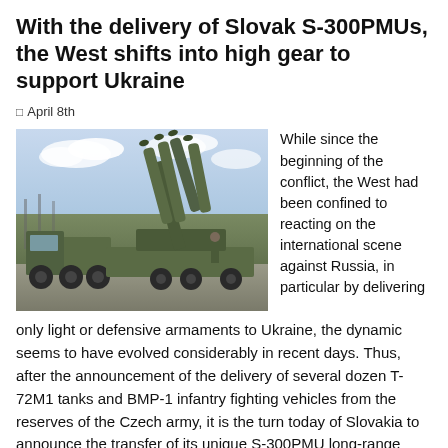With the delivery of Slovak S-300PMUs, the West shifts into high gear to support Ukraine
April 8th
[Figure (photo): Military S-300 surface-to-air missile system mounted on a truck/trailer, with missile launchers elevated at an angle, photographed outdoors on a gravel road with sky and terrain in background.]
While since the beginning of the conflict, the West had been confined to reacting on the international scene against Russia, in particular by delivering only light or defensive armaments to Ukraine, the dynamic seems to have evolved considerably in recent days. Thus, after the announcement of the delivery of several dozen T-72M1 tanks and BMP-1 infantry fighting vehicles from the reserves of the Czech army, it is the turn today of Slovakia to announce the transfer of its unique S-300PMU long-range anti-aircraft defense battery to Ukraine, information confirmed by Slovak Prime